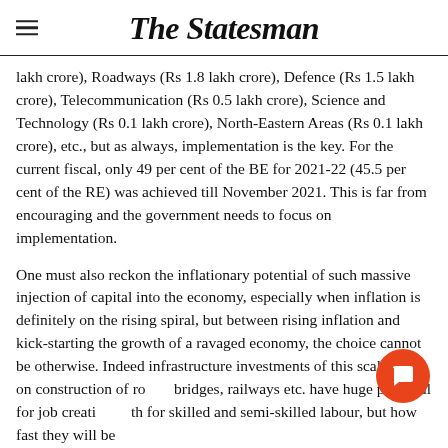The Statesman
lakh crore), Roadways (Rs 1.8 lakh crore), Defence (Rs 1.5 lakh crore), Telecommunication (Rs 0.5 lakh crore), Science and Technology (Rs 0.1 lakh crore), North-Eastern Areas (Rs 0.1 lakh crore), etc., but as always, implementation is the key. For the current fiscal, only 49 per cent of the BE for 2021-22 (45.5 per cent of the RE) was achieved till November 2021. This is far from encouraging and the government needs to focus on implementation.
One must also reckon the inflationary potential of such massive injection of capital into the economy, especially when inflation is definitely on the rising spiral, but between rising inflation and kick-starting the growth of a ravaged economy, the choice cannot be otherwise. Indeed infrastructure investments of this scale made on construction of roads, bridges, railways etc. have huge potential for job creation both for skilled and semi-skilled labour, but how fast they will be